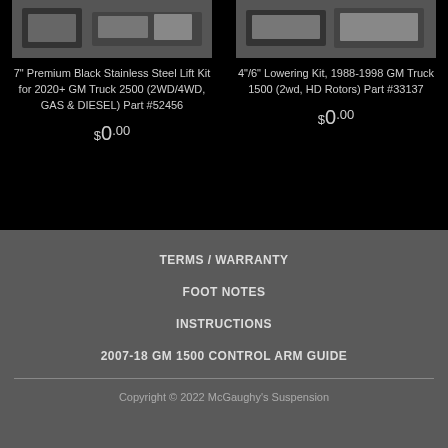[Figure (photo): Product image for 7 inch Premium Black Stainless Steel Lift Kit]
7" Premium Black Stainless Steel Lift Kit for 2020+ GM Truck 2500 (2WD/4WD, GAS & DIESEL) Part #52456
$0.00
[Figure (photo): Product image for 4/6 inch Lowering Kit]
4"/6" Lowering Kit, 1988-1998 GM Truck 1500 (2wd, HD Rotors) Part #33137
$0.00
TERMS / WARRANTY
FOOT NOTES
INSTRUCTIONS
2007-18 GM 1500 CONTROL ARM GUIDE
Copyright © 2022 McGaughy's Suspension